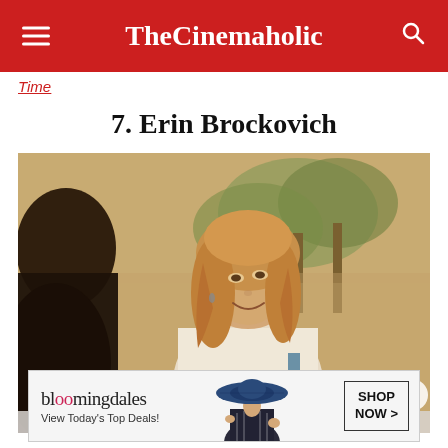TheCinemaholic
Time
7. Erin Brockovich
[Figure (photo): Movie still from Erin Brockovich showing a smiling woman with long blonde hair sitting outdoors with trees in the background.]
[Figure (infographic): Bloomingdale's advertisement banner: 'bloomingdales / View Today's Top Deals!' with a woman in a wide-brim blue hat and a 'SHOP NOW >' button.]